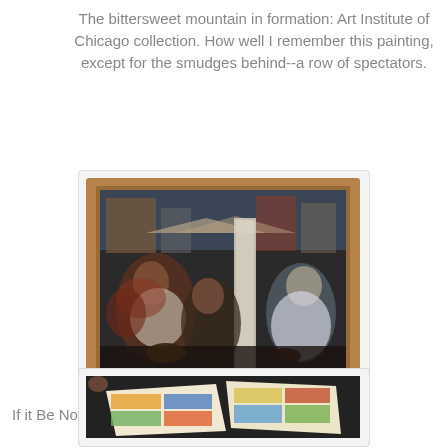The bittersweet mountain in formation: Art Institute of Chicago collection. How well I remember this painting, except for the smudges behind--a row of spectators.
[Figure (photo): A framed painting with a wooden frame showing a complex figurative scene with multiple people in what appears to be an urban setting. The painting is dark with earthy tones showing figures seated and standing among various objects.]
If it Be Not I, Guston's early Iowa, post-WPA narrative.
[Figure (photo): A photograph showing comic strip pages spread out on a dark surface, with colorful comic panels visible.]